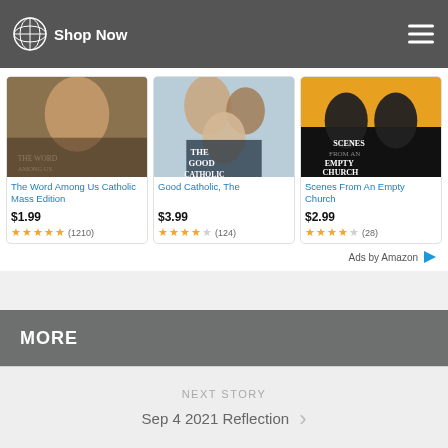Shop Now
[Figure (other): Amazon ad card: The Word Among Us Catholic Mass Edition, $1.99, 4.5 stars (1210 reviews)]
[Figure (other): Amazon ad card: Good Catholic, The, $3.99, 4 stars (124 reviews)]
[Figure (other): Amazon ad card: Scenes From An Empty Church, $2.99, 3.5 stars (28 reviews)]
Ads by Amazon
MORE
NEXT STORY
Sep 4 2021 Reflection